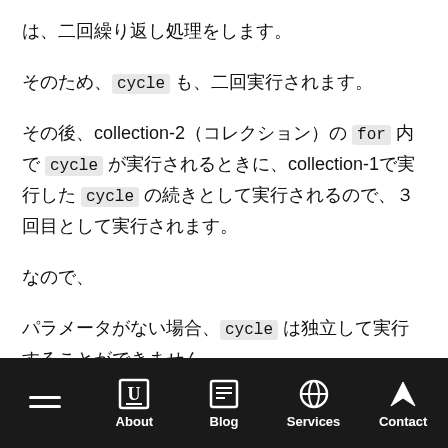は、二回繰り返し処理をします。
そのため、cycle も、二回実行されます。
その後、collection-2（コレクション）の for 内で cycle が実行されるときに、collection-1で実行した cycle の続きとして実行されるので、３回目として実行されます。
なので、
パラメータがない場合、cycle は独立して実行することができません。
About | Blog | Services | Contact